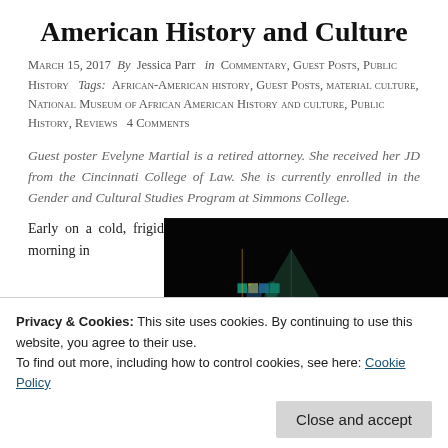American History and Culture
March 15, 2017  By  Jessica Parr  in  Commentary, Guest Posts, Public History  Tags: African-American history, Guest Posts, material culture, National Museum of African American History and culture, Public History, Reviews  4 Comments
Guest poster Evelyne Martial is a retired attorney. She received her JD from the Cincinnati College of Law. She is currently enrolled in the Gender and Cultural Studies Program at Simmons College.
Early on a cold, frigid morning in
[Figure (photo): A colorful illuminated sculpture or architectural detail photographed against a dark/black background, showing mosaic-like patterns in blue, green, and gold tones.]
line  to  get
Privacy & Cookies: This site uses cookies. By continuing to use this website, you agree to their use.
To find out more, including how to control cookies, see here: Cookie Policy